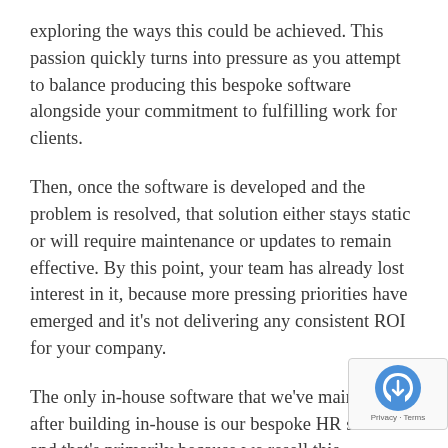exploring the ways this could be achieved. This passion quickly turns into pressure as you attempt to balance producing this bespoke software alongside your commitment to fulfilling work for clients.
Then, once the software is developed and the problem is resolved, that solution either stays static or will require maintenance or updates to remain effective. By this point, your team has already lost interest in it, because more pressing priorities have emerged and it's not delivering any consistent ROI for your company.
The only in-house software that we've maintained after building in-house is our bespoke HR solu – and that's primarily because we resell this technology to other companies. That resell value